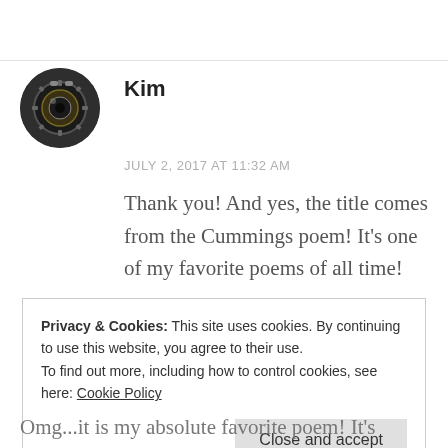[Figure (photo): Circular avatar image showing a vintage camera with mechanical gear-like details, dark tones]
Kim
JULY 2, 2017 AT 11:32 AM
Thank you! And yes, the title comes from the Cummings poem! It’s one of my favorite poems of all time!
Privacy & Cookies: This site uses cookies. By continuing to use this website, you agree to their use.
To find out more, including how to control cookies, see here: Cookie Policy
Close and accept
Omg...it is my absolute favorite poem! It’s